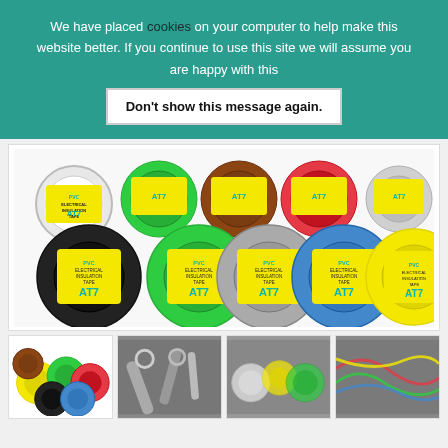We have placed cookies on your computer to help make this website better. If you continue to use this site we will assume you are happy with this
Don't show this message again.
[Figure (photo): Multiple rolls of AT7 PVC Electrical Insulation Tape in various colors (black, green, grey, blue, yellow, white, brown, red) arranged in two rows]
[Figure (photo): Small product thumbnail showing multiple small AT7 tape rolls]
[Figure (photo): Thumbnail showing tools (wrenches) on a surface]
[Figure (photo): Thumbnail showing various tape rolls on a surface]
[Figure (photo): Thumbnail showing wiring/electrical work]